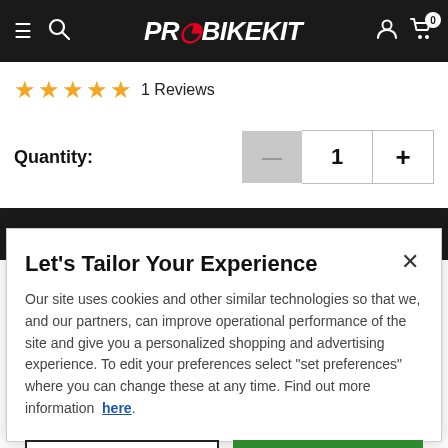[Figure (screenshot): ProBikeKit website header with logo, hamburger menu, search icon, user icon, and cart icon with badge showing 0]
★★★★★ 1 Reviews
Quantity: 1
BUY NOW
Let's Tailor Your Experience
Our site uses cookies and other similar technologies so that we, and our partners, can improve operational performance of the site and give you a personalized shopping and advertising experience. To edit your preferences select "set preferences" where you can change these at any time. Find out more information here.
Set Preference
That's Ok